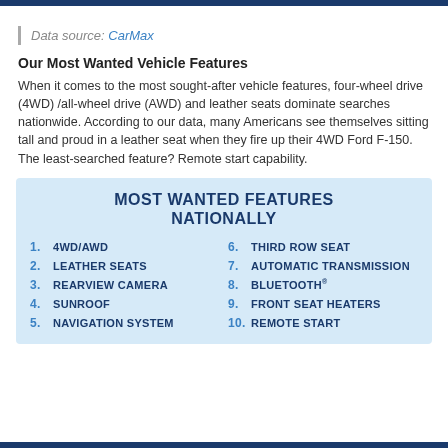Data source: CarMax
Our Most Wanted Vehicle Features
When it comes to the most sought-after vehicle features, four-wheel drive (4WD) /all-wheel drive (AWD) and leather seats dominate searches nationwide. According to our data, many Americans see themselves sitting tall and proud in a leather seat when they fire up their 4WD Ford F-150. The least-searched feature? Remote start capability.
[Figure (infographic): Most Wanted Features Nationally — ranked list 1-10: 1. 4WD/AWD, 2. Leather Seats, 3. Rearview Camera, 4. Sunroof, 5. Navigation System, 6. Third Row Seat, 7. Automatic Transmission, 8. Bluetooth, 9. Front Seat Heaters, 10. Remote Start]